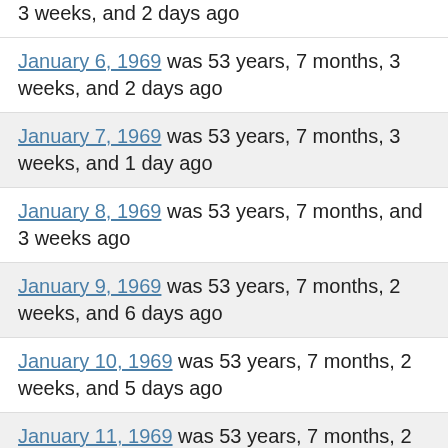…weeks, and 2 days ago (partial, top cut off)
January 6, 1969 was 53 years, 7 months, 3 weeks, and 2 days ago
January 7, 1969 was 53 years, 7 months, 3 weeks, and 1 day ago
January 8, 1969 was 53 years, 7 months, and 3 weeks ago
January 9, 1969 was 53 years, 7 months, 2 weeks, and 6 days ago
January 10, 1969 was 53 years, 7 months, 2 weeks, and 5 days ago
January 11, 1969 was 53 years, 7 months, 2 weeks, and 4 days ago
January 12, 1969 was 53 years, 7 months… (partial, bottom cut off)